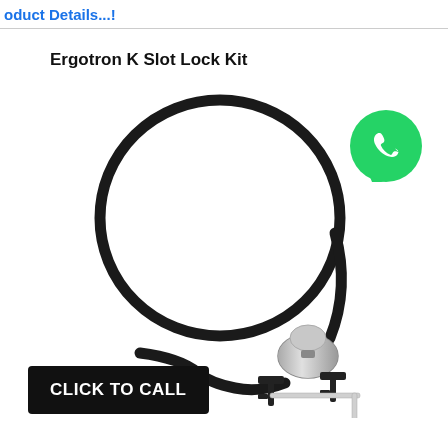oduct Details...!
Ergotron K Slot Lock Kit
[Figure (photo): Product photo of Ergotron K Slot Lock Kit showing a black security cable lock coiled in a circle with a silver barrel lock mechanism and two black keys, plus an L-shaped hex wrench]
[Figure (logo): WhatsApp logo — green circle with white telephone handset icon]
CLICK TO CALL